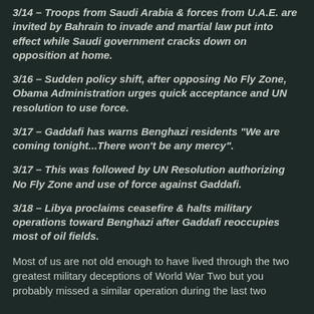3/14 – Troops from Saudi Arabia & forces from U.A.E. are invited by Bahrain to invade and martial law put into effect while Saudi government cracks down on opposition at home.
3/16 – Sudden policy shift, after opposing No Fly Zone, Obama Administration urges quick acceptance and UN resolution to use force.
3/17 – Gaddafi has warns Benghazi residents "We are coming tonight...There won't be any mercy".
3/17 – This was followed by UN Resolution authorizing No Fly Zone and use of force against Gaddafi.
3/18 – Libya proclaims ceasefire & halts military operations toward Benghazi after Gaddafi reoccupies most of oil fields.
Most of us are not old enough to have lived through the two greatest military deceptions of World War Two but you probably missed a similar operation during the last two years. The first resemblance of this information is starting...